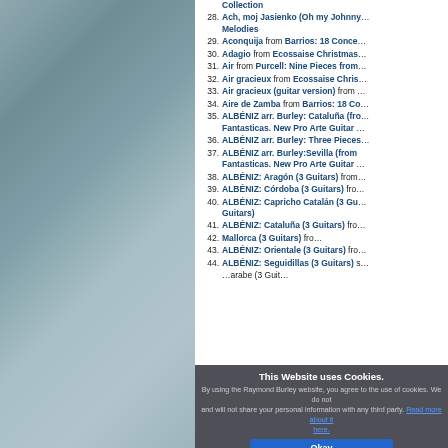[Figure (photo): Textured stone or rock surface in blue-green and grey tones, occupying the left portion of the page]
Collection (item 27, partial)
28. Ach, moj Jasienko (Oh my Johnny) Melodies
29. Aconquija from Barrios: 18 Conce...
30. Adagio from Ecossaise Christmas...
31. Air from Purcell: Nine Pieces from...
32. Air gracieux from Ecossaise Chris...
33. Air gracieux (guitar version) from ...
34. Aire de Zamba from Barrios: 18 Co...
35. ALBÉNIZ arr. Burley: Cataluña (from Fantasticas. New Pro Arte Guitar ...
36. ALBÉNIZ arr. Burley: Three Pieces...
37. ALBÉNIZ arr. Burley:Sevilla (from Fantasticas. New Pro Arte Guitar ...
38. ALBÉNIZ: Aragón (3 Guitars) from...
39. ALBÉNIZ: Córdoba (3 Guitars) fro...
40. ALBÉNIZ: Capricho Catalán (3 Guitars)
41. ALBÉNIZ: Cataluña (3 Guitars) fro...
42. Mallorca (3 Guitars) fro...
43. ALBÉNIZ: Orientale (3 Guitars) fro...
44. ALBÉNIZ: Seguidillas (3 Guitars) s...
45. ...arabe (3 Guitars)
This Website uses Cookies. By using the Raymond Burley website, you agree to the use of cookies. We do not and will not share your personal information with any third party. Read more about it here.
Okay